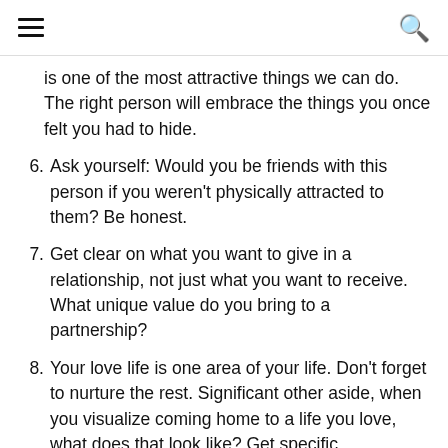navigation header with menu and search icons
is one of the most attractive things we can do. The right person will embrace the things you once felt you had to hide.
6. Ask yourself: Would you be friends with this person if you weren't physically attracted to them? Be honest.
7. Get clear on what you want to give in a relationship, not just what you want to receive. What unique value do you bring to a partnership?
8. Your love life is one area of your life. Don't forget to nurture the rest. Significant other aside, when you visualize coming home to a life you love, what does that look like? Get specific.
9. Know what you want from a potential partner. What are your non-negotiables? What are you flexible on? Then communicate your needs, don't just think about